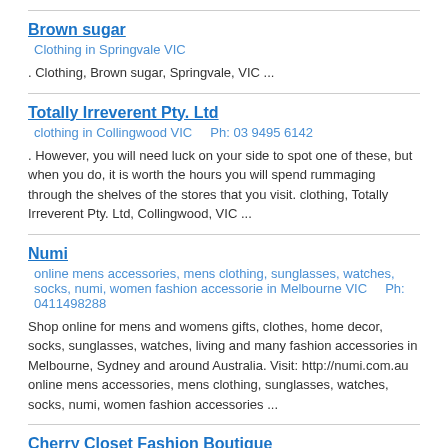Brown sugar
Clothing in Springvale VIC
. Clothing, Brown sugar, Springvale, VIC ...
Totally Irreverent Pty. Ltd
clothing in Collingwood VIC    Ph: 03 9495 6142
. However, you will need luck on your side to spot one of these, but when you do, it is worth the hours you will spend rummaging through the shelves of the stores that you visit. clothing, Totally Irreverent Pty. Ltd, Collingwood, VIC ...
Numi
online mens accessories, mens clothing, sunglasses, watches, socks, numi, women fashion accessorie in Melbourne VIC    Ph: 0411498288
Shop online for mens and womens gifts, clothes, home decor, socks, sunglasses, watches, living and many fashion accessories in Melbourne, Sydney and around Australia. Visit: http://numi.com.au online mens accessories, mens clothing, sunglasses, watches, socks, numi, women fashion accessories ...
Cherry Closet Fashion Boutique
women's clothing berwick,fashion boutique hallam,formal dresses narre warren north,jewellery and sho in Berwick VIC    Ph: 03 9769 3687